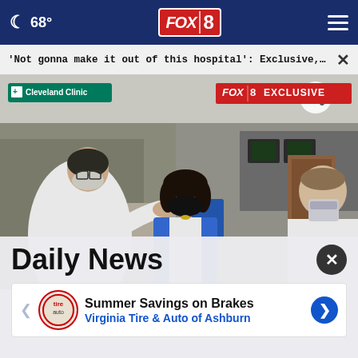☾ 68° | FOX 8 | ≡
'Not gonna make it out of this hospital': Exclusive, ... ×
[Figure (photo): Three people in masks inside a hospital (Cleveland Clinic). A reporter in a blue blazer and black mask stands between a doctor in a white coat on the right and another figure in white on the left who appears to be gesturing. FOX 8 EXCLUSIVE watermark in top right corner.]
Daily News
Summer Savings on Brakes
Virginia Tire & Auto of Ashburn